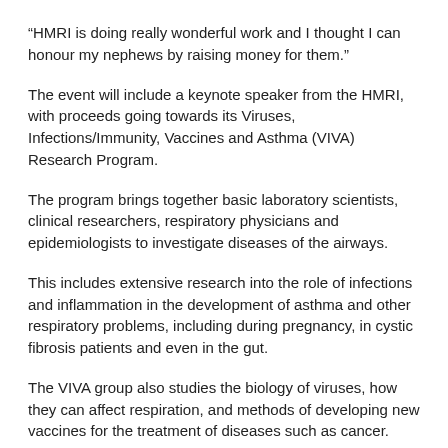“HMRI is doing really wonderful work and I thought I can honour my nephews by raising money for them.”
The event will include a keynote speaker from the HMRI, with proceeds going towards its Viruses, Infections/Immunity, Vaccines and Asthma (VIVA) Research Program.
The program brings together basic laboratory scientists, clinical researchers, respiratory physicians and epidemiologists to investigate diseases of the airways.
This includes extensive research into the role of infections and inflammation in the development of asthma and other respiratory problems, including during pregnancy, in cystic fibrosis patients and even in the gut.
The VIVA group also studies the biology of viruses, how they can affect respiration, and methods of developing new vaccines for the treatment of diseases such as cancer.
“We’ve got a world-class facility here in our own backyard, but it relies on the community’s support through fundraisers like this to continue to exist,” Ms Ridley adds.